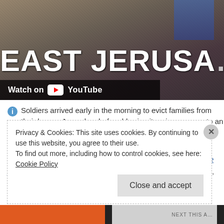[Figure (screenshot): YouTube video thumbnail showing 'EAST JERUSALEM' text overlay with destruction imagery and a 'Watch on YouTube' button bar]
Soldiers arrived early in the morning to evict families from their home in East Jerusalem before blowing it up in response to an attack last month at a
Posted in NEWS
Tags: attack, conflict, destroying, east jerusalem, families, free palestine, gaza, house, israel, israel destroys, Jerusalem, morning, news, occupied, palestine, palestine israel, response, soldiers
Privacy & Cookies: This site uses cookies. By continuing to use this website, you agree to their use.
To find out more, including how to control cookies, see here: Cookie Policy
Close and accept